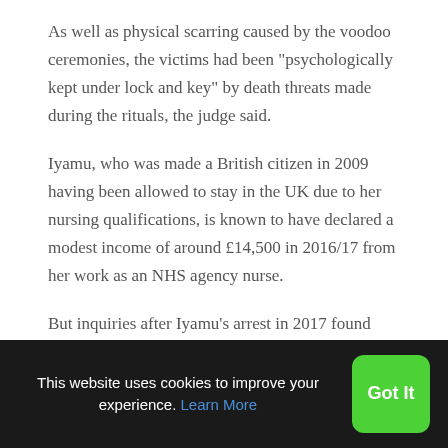As well as physical scarring caused by the voodoo ceremonies, the victims had been "psychologically kept under lock and key" by death threats made during the rituals, the judge said.
Iyamu, who was made a British citizen in 2009 having been allowed to stay in the UK due to her nursing qualifications, is known to have declared a modest income of around £14,500 in 2016/17 from her work as an NHS agency nurse.
But inquiries after Iyamu's arrest in 2017 found
This website uses cookies to improve your experience. Learn More